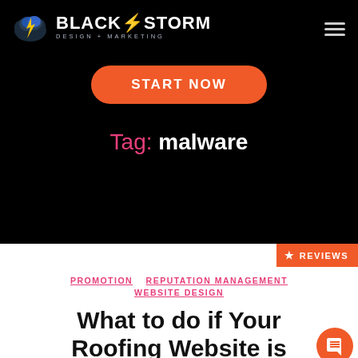[Figure (logo): BlackStorm Design + Marketing logo with cloud and lightning bolt icon]
START NOW
Tag: malware
REVIEWS
PROMOTION   REPUTATION MANAGEMENT   WEBSITE DESIGN
What to do if Your Roofing Website is hacked?